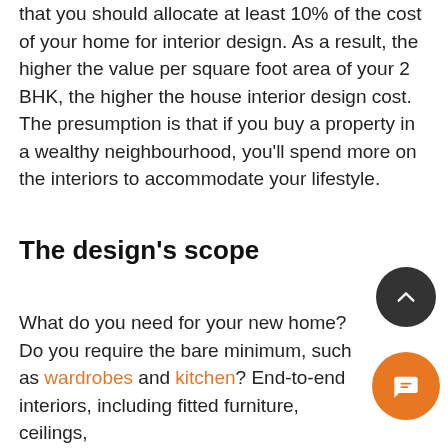that you should allocate at least 10% of the cost of your home for interior design. As a result, the higher the value per square foot area of your 2 BHK, the higher the house interior design cost. The presumption is that if you buy a property in a wealthy neighbourhood, you'll spend more on the interiors to accommodate your lifestyle.
The design's scope
What do you need for your new home? Do you require the bare minimum, such as wardrobes and kitchen? End-to-end interiors, including fitted furniture, ceilings,